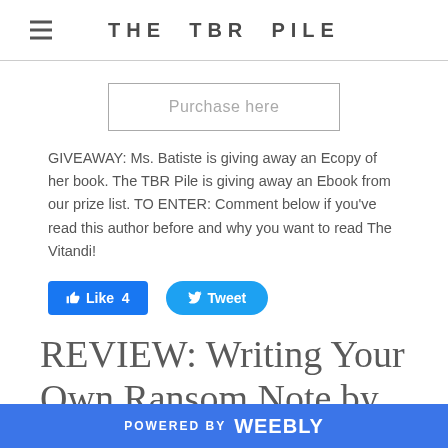THE TBR PILE
[Figure (other): Purchase here button — rectangular outlined button with gray border and gray text]
GIVEAWAY: Ms. Batiste is giving away an Ecopy of her book. The TBR Pile is giving away an Ebook from our prize list. TO ENTER: Comment below if you've read this author before and why you want to read The Vitandi!
[Figure (other): Social sharing buttons: Facebook Like (count 4) and Twitter Tweet buttons]
REVIEW: Writing Your Own Ransom Note by Sam
POWERED BY weebly